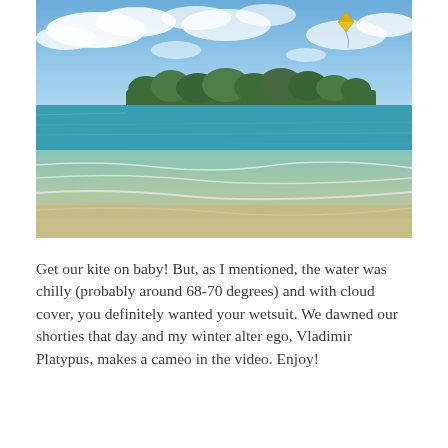[Figure (photo): Outdoor beach photograph showing calm turquoise-green ocean water in the foreground with a sandy shoreline, a tree-covered island in the middle distance under a partly cloudy blue sky, and a small colorful kite flying in the upper portion of the sky.]
Get our kite on baby!  But, as I mentioned, the water was chilly (probably around 68-70 degrees) and with cloud cover, you definitely wanted your wetsuit.  We dawned our shorties that day and my winter alter ego, Vladimir Platypus, makes a cameo in the video.  Enjoy!